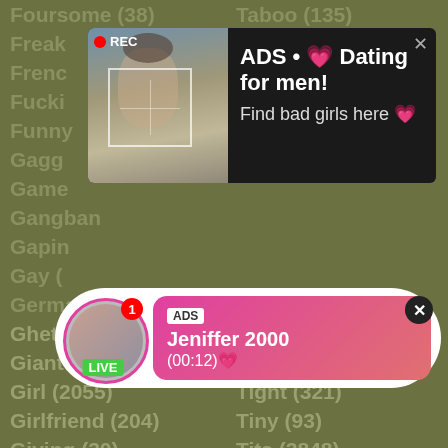Foursome (38)
Taboo (135)
Freak
French
Fucki
Funny
Gagg
Game
Gangbang
Gapin
Gay (
Germa
Ghetto (8)
Throat (679)
Giant (29)
Tied (67)
Girl (2055)
Tight (321)
Girlfriend (204)
Tiny (93)
Giving (30)
Tits (2848)
Glamour (4)
Toilet (11)
Glasses (46)
Tongue (15)
[Figure (screenshot): Dark popup ad with REC indicator, photo of woman taking selfie, text: ADS • 💗 Dating for men! Find bad girls here 💗]
[Figure (screenshot): Pink/white pill-shaped popup ad with avatar, LIVE badge, notification badge, text: ADS Jeniffer 2000 (00:12)💗]